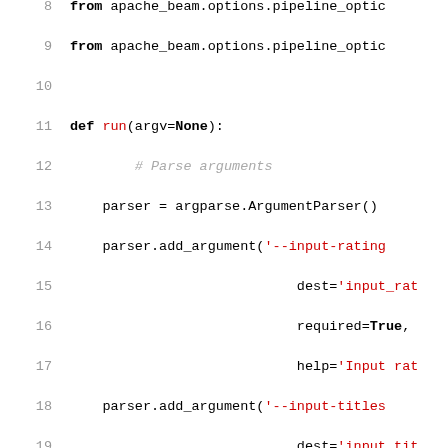8     from apache_beam.options.pipeline_optic
9     from apache_beam.options.pipeline_optic
10
11    def run(argv=None):
12        # Parse arguments
13        parser = argparse.ArgumentParser()
14        parser.add_argument('--input-rating
15                            dest='input_rat
16                            required=True,
17                            help='Input rat
18        parser.add_argument('--input-titles
19                            dest='input_tit
20                            required=True,
21                            help='Input tit